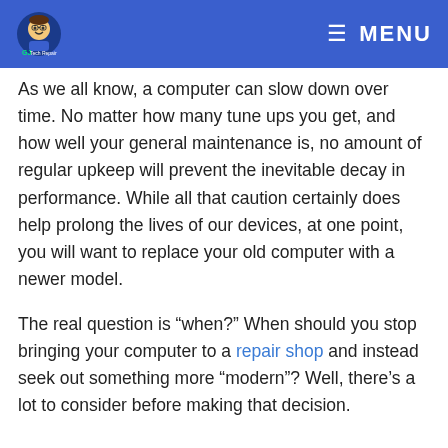GJ Tech Repair | MENU
As we all know, a computer can slow down over time. No matter how many tune ups you get, and how well your general maintenance is, no amount of regular upkeep will prevent the inevitable decay in performance. While all that caution certainly does help prolong the lives of our devices, at one point, you will want to replace your old computer with a newer model.
The real question is “when?” When should you stop bringing your computer to a repair shop and instead seek out something more “modern”? Well, there’s a lot to consider before making that decision.